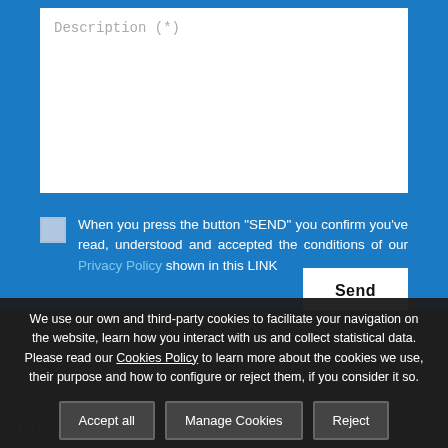Description (*)
When you press the button "SEND" you confirm you've read, understood and accepted the conditions of our Privacy Policy shown in this LINK
Send
We use our own and third-party cookies to facilitate your navigation on the website, learn how you interact with us and collect statistical data. Please read our Cookies Policy to learn more about the cookies we use, their purpose and how to configure or reject them, if you consider it so.
Accept all
Manage Cookies
Reject
QUESTION?